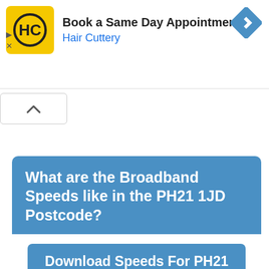[Figure (screenshot): Advertisement banner for Hair Cuttery showing logo, headline 'Book a Same Day Appointment', company name 'Hair Cuttery', and a blue navigation icon]
[Figure (screenshot): Collapse/chevron button UI element]
What are the Broadband Speeds like in the PH21 1JD Postcode?
Download Speeds For PH21